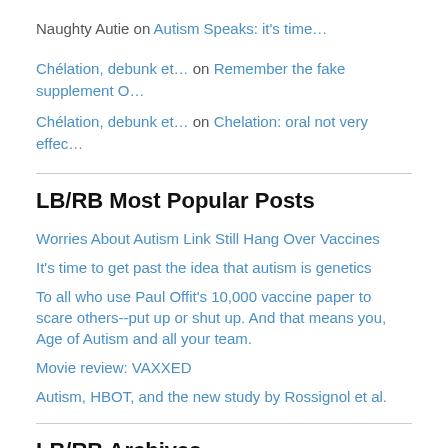Naughty Autie on Autism Speaks: it's time…
Chélation, debunk et… on Remember the fake supplement O…
Chélation, debunk et… on Chelation: oral not very effec…
LB/RB Most Popular Posts
Worries About Autism Link Still Hang Over Vaccines
It's time to get past the idea that autism is genetics
To all who use Paul Offit's 10,000 vaccine paper to scare others--put up or shut up. And that means you, Age of Autism and all your team.
Movie review: VAXXED
Autism, HBOT, and the new study by Rossignol et al.
LB/RB Archives